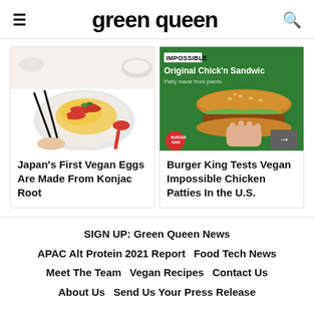green queen
[Figure (photo): Photo of a plate with scrambled eggs and red peppers being eaten with chopsticks, with a red spoon on the side]
Japan's First Vegan Eggs Are Made From Konjac Root
[Figure (photo): Impossible Foods advertisement on green background showing Original Chick'n Sandwich with Burger King logo and arrow button]
Burger King Tests Vegan Impossible Chicken Patties In the U.S.
SIGN UP: Green Queen News | APAC Alt Protein 2021 Report | Food Tech News | Meet The Team | Vegan Recipes | Contact Us | About Us | Send Us Your Press Release